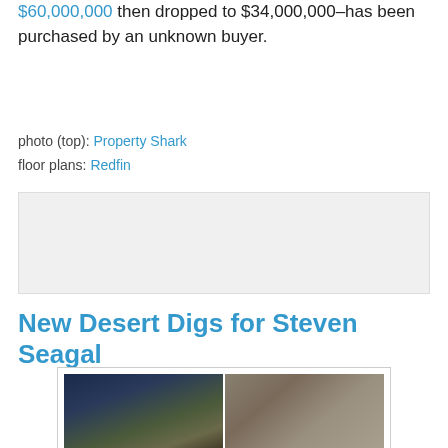$60,000,000 then dropped to $34,000,000–has been purchased by an unknown buyer.
photo (top): Property Shark
floor plans: Redfin
[Figure (other): Advertisement / ad placeholder box]
New Desert Digs for Steven Seagal
[Figure (photo): Grid of 6 luxury desert home interior and exterior photos arranged in 2 columns and 3 rows]